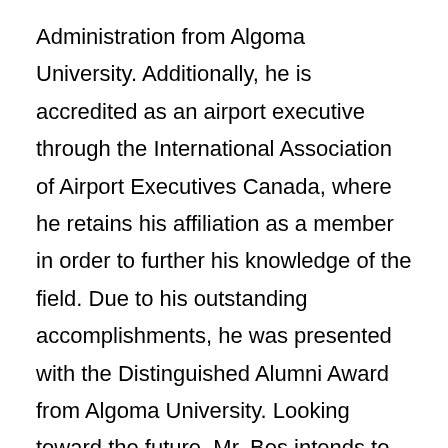Administration from Algoma University. Additionally, he is accredited as an airport executive through the International Association of Airport Executives Canada, where he retains his affiliation as a member in order to further his knowledge of the field. Due to his outstanding accomplishments, he was presented with the Distinguished Alumni Award from Algoma University. Looking toward the future, Mr. Bos intends to further his exemplary efforts with the Sault Ste. Marie Airport Development Corporation to continue increasing passenger levels.
About Marquis Who's Who®
Since 1899, when A. N. Marquis printed the First Edit Who's Who in America®, Marquis Who's Who® has chronicled the lives of the most accomplished individuals and